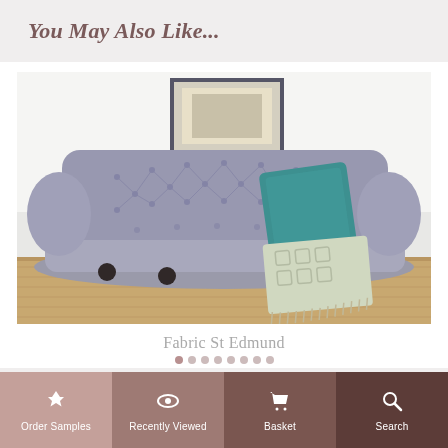You May Also Like...
[Figure (photo): A grey Chesterfield-style fabric sofa with tufted back, teal cushion, and a patterned throw blanket, displayed in a bright room with wooden flooring and a framed picture on the wall.]
Fabric St Edmund
Order Samples | Recently Viewed | Basket | Search